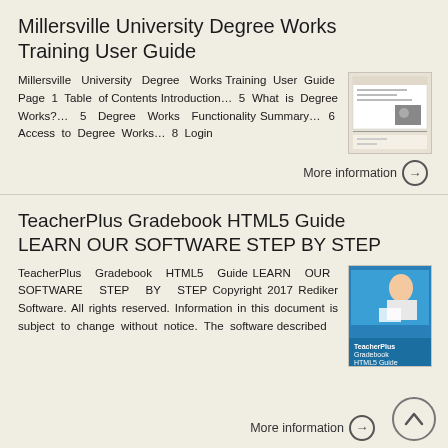Millersville University Degree Works Training User Guide
Millersville University Degree Works Training User Guide Page 1 Table of Contents Introduction… 5 What is Degree Works?… 5 Degree Works Functionality Summary… 6 Access to Degree Works… 8 Login
More information →
TeacherPlus Gradebook HTML5 Guide LEARN OUR SOFTWARE STEP BY STEP
TeacherPlus Gradebook HTML5 Guide LEARN OUR SOFTWARE STEP BY STEP Copyright 2017 Rediker Software. All rights reserved. Information in this document is subject to change without notice. The software described
More information →